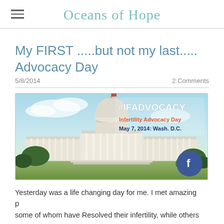Oceans of Hope
My FIRST .....but not my last..... Advocacy Day
5/8/2014   2 Comments
[Figure (photo): Banner image of the US Capitol building with text overlay: #IFADVOCACY, Infertility Advocacy Day, May 7, 2014: Wash. D.C.]
Yesterday was a life changing day for me. I met amazing p... some of whom have Resolved their infertility, while others are